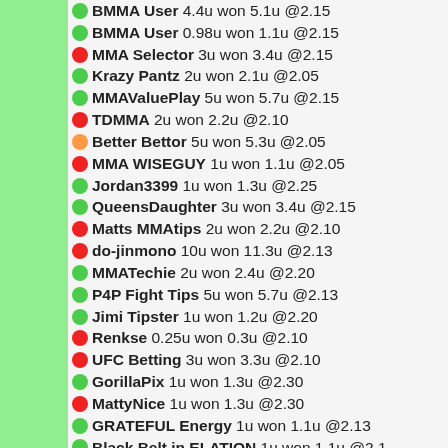BMMA User 4.4u won 5.1u @2.15
BMMA User 0.98u won 1.1u @2.15
MMA Selector 3u won 3.4u @2.15
Krazy Pantz 2u won 2.1u @2.05
MMAValuePlay 5u won 5.7u @2.15
TDMMA 2u won 2.2u @2.10
Better Bettor 5u won 5.3u @2.05
MMA WISEGUY 1u won 1.1u @2.05
Jordan3399 1u won 1.3u @2.25
QueensDaughter 3u won 3.4u @2.15
Matts MMAtips 2u won 2.2u @2.10
do-jinmono 10u won 11.3u @2.13
MMATechie 2u won 2.4u @2.20
P4P Fight Tips 5u won 5.7u @2.13
Jimi Tipster 1u won 1.2u @2.20
Renkse 0.25u won 0.3u @2.10
UFC Betting 3u won 3.3u @2.10
GorillaPix 1u won 1.3u @2.30
MattyNice 1u won 1.3u @2.30
GRATEFUL Energy 1u won 1.1u @2.13
Black Belt in ELATION 1u won 1.1u @2.1...
MMAFightIQ 2.5u won 2.5u @2.00
Picking Cutelaba as part of a parlay or prop
Lock of the Night wins inside distance @2...
MMA Selector straight pick @2.15
wins inside distance @2.60
MMA Selector wins in round 1 @4.00
Matts MMAtips straight pick @2.1...